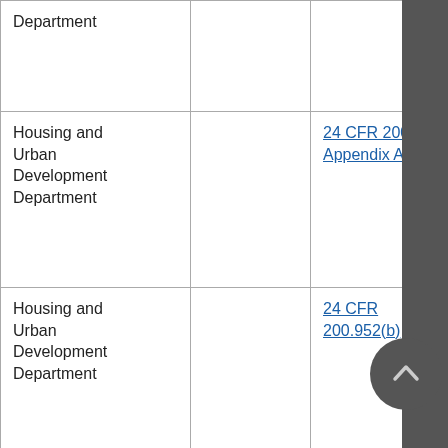| Department |  |  |  |
| Housing and Urban Development Department |  | 24 CFR 200, Appendix A | UM Bullet 70a |
| Housing and Urban Development Department |  | 24 CFR 200.952(b) | UM Bullet 70b |
| Housing and Urban Development Department |  | 24 CFR 200, Appendix A | UM... |